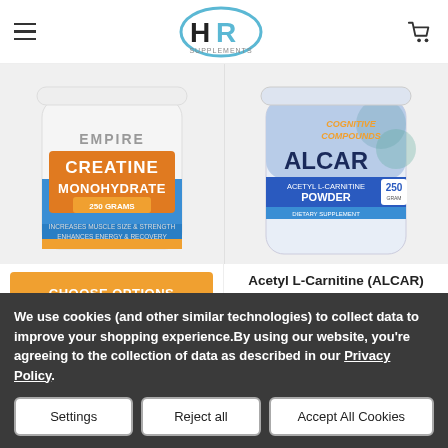HR Supplements — navigation header with hamburger menu and cart icon
[Figure (photo): Product image: Creatine Monohydrate Micronized Powder by Muscle Empire, white tub with blue label, 250 grams]
[Figure (photo): Product image: Acetyl L-Carnitine (ALCAR) Powder by Cognitive Compounds, 250g container with blue and orange label]
CHOOSE OPTIONS
Acetyl L-Carnitine (ALCAR) Powder
Creatine Monohydrate Micronized Powder
Cognitive Compounds
Muscle Empire
★★★★★
We use cookies (and other similar technologies) to collect data to improve your shopping experience.By using our website, you're agreeing to the collection of data as described in our Privacy Policy.
Settings
Reject all
Accept All Cookies